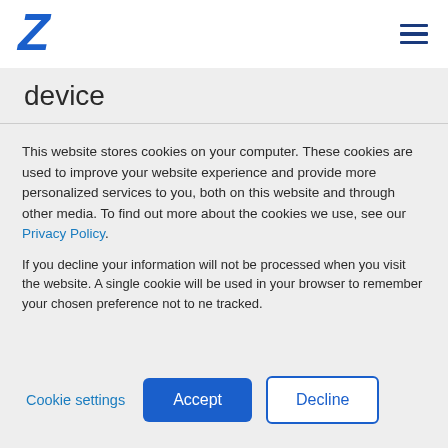[Figure (logo): Zurich Insurance blue Z logo]
device
This website stores cookies on your computer. These cookies are used to improve your website experience and provide more personalized services to you, both on this website and through other media. To find out more about the cookies we use, see our Privacy Policy.
If you decline your information will not be processed when you visit the website. A single cookie will be used in your browser to remember your chosen preference not to ne tracked.
Cookie settings   Accept   Decline